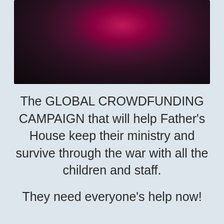[Figure (photo): Dark blurry photo with a bright magenta/pink light in the center against a very dark background, appearing to show a person or figure with a glowing light source]
The GLOBAL CROWDFUNDING CAMPAIGN that will help Father's House keep their ministry and survive through the war with all the children and staff.
They need everyone's help now!